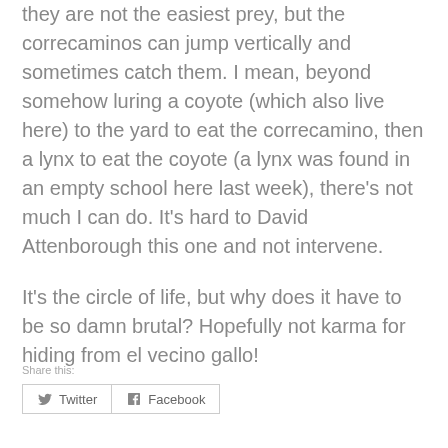they are not the easiest prey, but the correcaminos can jump vertically and sometimes catch them. I mean, beyond somehow luring a coyote (which also live here) to the yard to eat the correcamino, then a lynx to eat the coyote (a lynx was found in an empty school here last week), there’s not much I can do. It’s hard to David Attenborough this one and not intervene.
It’s the circle of life, but why does it have to be so damn brutal? Hopefully not karma for hiding from el vecino gallo!
Share this:
Twitter   Facebook